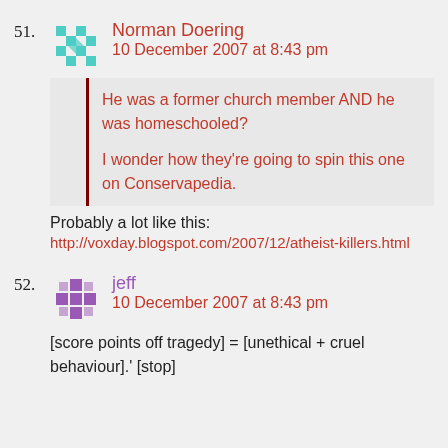51. Norman Doering
10 December 2007 at 8:43 pm
He was a former church member AND he was homeschooled?
I wonder how they're going to spin this one on Conservapedia.
Probably a lot like this:
http://voxday.blogspot.com/2007/12/atheist-killers.html
52. jeff
10 December 2007 at 8:43 pm
[score points off tragedy] = [unethical + cruel behaviour].' [stop]